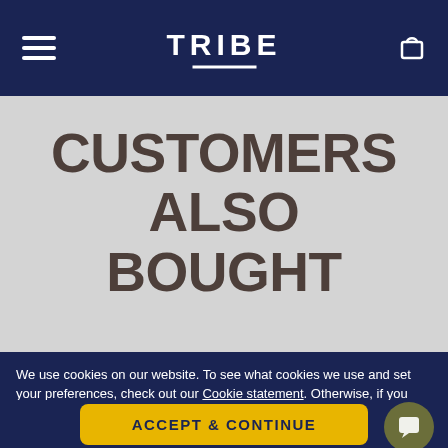TRIBE
CUSTOMERS ALSO BOUGHT
We use cookies on our website. To see what cookies we use and set your preferences, check out our Cookie statement. Otherwise, if you agree to our use of cookies, please continue to use our site.
ACCEPT & CONTINUE